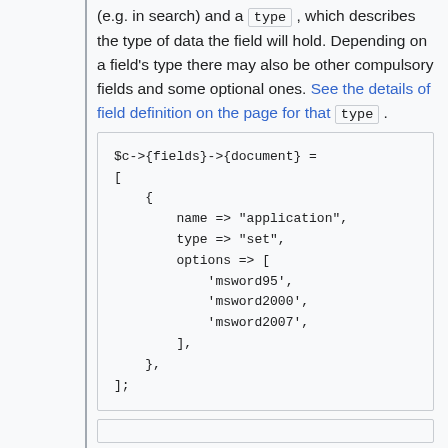(e.g. in search) and a type , which describes the type of data the field will hold. Depending on a field's type there may also be other compulsory fields and some optional ones. See the details of field definition on the page for that type .
$c->{fields}->{document} =
[
    {
        name => "application",
        type => "set",
        options => [
            'msword95',
            'msword2000',
            'msword2007',
        ],
    },
];